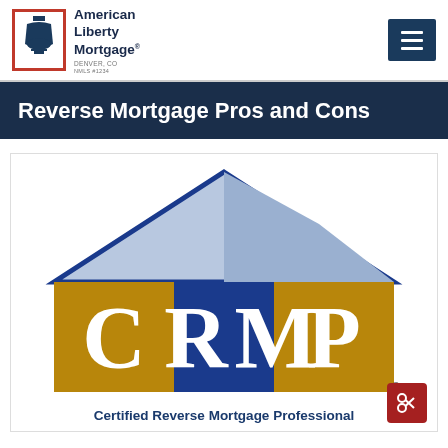American Liberty Mortgage | Denver, CO
Reverse Mortgage Pros and Cons
[Figure (logo): CRMP (Certified Reverse Mortgage Professional) logo featuring a house outline with blue and gold color blocks and large white letters C, R, M, P. Below reads 'Certified Reverse Mortgage Professional'.]